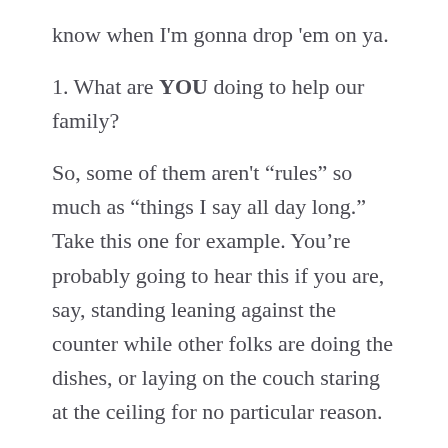know when I'm gonna drop 'em on ya.
1. What are YOU doing to help our family?
So, some of them aren't “rules” so much as “things I say all day long.” Take this one for example. You’re probably going to hear this if you are, say, standing leaning against the counter while other folks are doing the dishes, or laying on the couch staring at the ceiling for no particular reason.